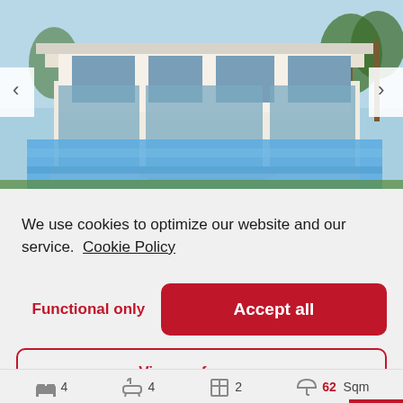[Figure (photo): Modern luxury villa with swimming pool, white exterior, large glass windows, surrounded by palm trees and greenery. Navigation arrows on left and right sides.]
We use cookies to optimize our website and our service.  Cookie Policy
Functional only
Accept all
View preferences
4   4   2   62 Sqm